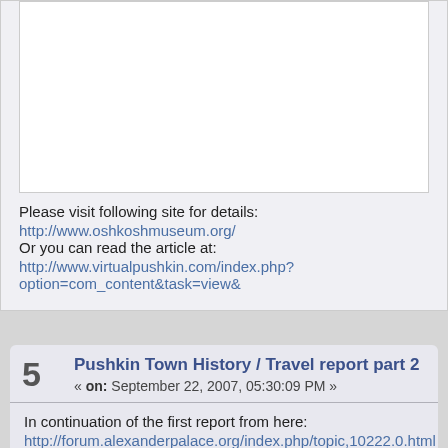Please visit following site for details:
http://www.oshkoshmuseum.org/
Or you can read the article at:
http://www.virtualpushkin.com/index.php?option=com_content&task=view&
5
Pushkin Town History / Travel report part 2
« on: September 22, 2007, 05:30:09 PM »
In continuation of the first report from here:
http://forum.alexanderpalace.org/index.php/topic,10222.0.html
Second part of the report will be Yussupovs Palace Part -1
http://www.virtualpushkin.com/index.php?option=com_content&task=view&